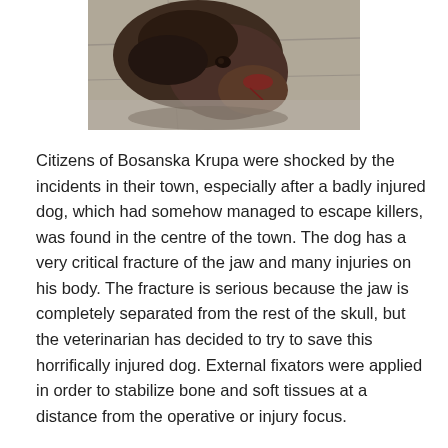[Figure (photo): A close-up photo of an injured dog lying on a concrete or stone surface. The dog appears to have a dark-colored coat with injuries visible on its face/jaw area. The image is cropped showing mainly the head and upper body of the animal.]
Citizens of Bosanska Krupa were shocked by the incidents in their town, especially after a badly injured dog, which had somehow managed to escape killers, was found in the centre of the town. The dog has a very critical fracture of the jaw and many injuries on his body. The fracture is serious because the jaw is completely separated from the rest of the skull, but the veterinarian has decided to try to save this horrifically injured dog. External fixators were applied in order to stabilize bone and soft tissues at a distance from the operative or injury focus.